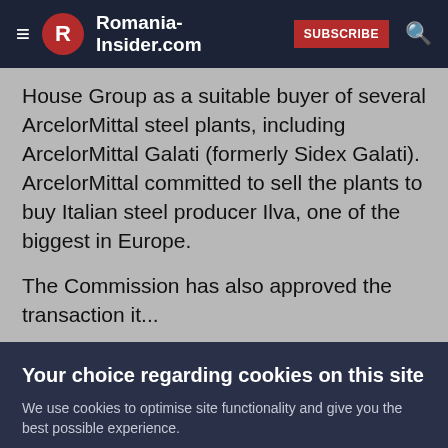Romania-Insider.com
House Group as a suitable buyer of several ArcelorMittal steel plants, including ArcelorMittal Galati (formerly Sidex Galati). ArcelorMittal committed to sell the plants to buy Italian steel producer Ilva, one of the biggest in Europe.

The Commission has also approved the transaction it...
Your choice regarding cookies on this site
We use cookies to optimise site functionality and give you the best possible experience.
Accept | Cookie Preferences | X